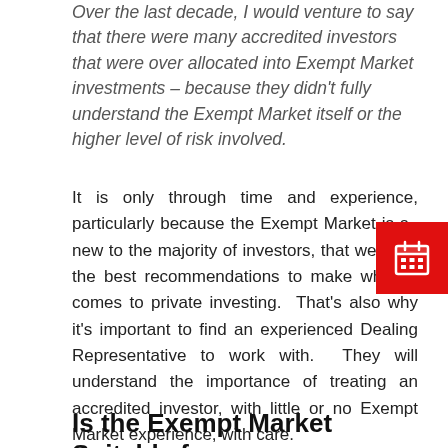Over the last decade, I would venture to say that there were many accredited investors that were over allocated into Exempt Market investments – because they didn't fully understand the Exempt Market itself or the higher level of risk involved.
It is only through time and experience, particularly because the Exempt Market is so new to the majority of investors, that we see the best recommendations to make when it comes to private investing. That's also why it's important to find an experienced Dealing Representative to work with. They will understand the importance of treating an accredited investor, with little or no Exempt Market experience, with care.
Is the Exempt Market Suitable for